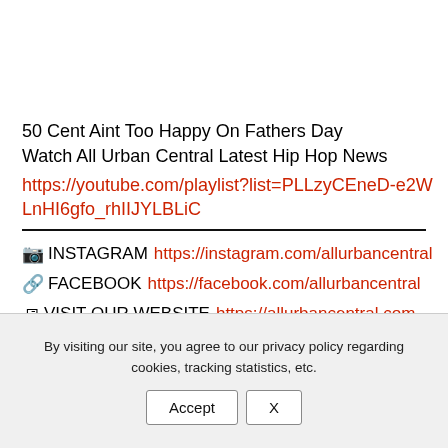50 Cent Aint Too Happy On Fathers Day
Watch All Urban Central Latest Hip Hop News
https://youtube.com/playlist?list=PLLzyCEneD-e2WLnHI6gfo_rhIIJYLBLiC
📷 INSTAGRAM https://instagram.com/allurbancentral
🔗 FACEBOOK https://facebook.com/allurbancentral
🖥 VISIT OUR WEBSITE https://allurbancentral.com
💬 TWITTER https://twitter.com/allurbancentral
🤓 UPLOAD YOUR VIDEO TO OUR CHANNEL
By visiting our site, you agree to our privacy policy regarding cookies, tracking statistics, etc.